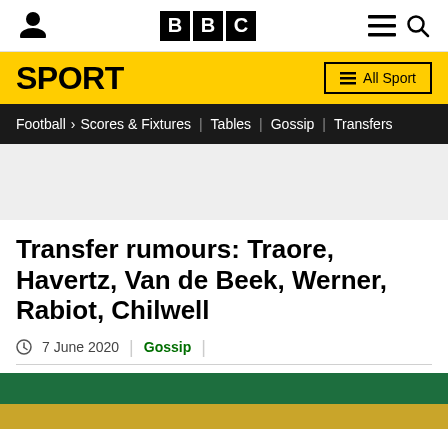BBC Sport
SPORT
Football > Scores & Fixtures | Tables | Gossip | Transfers
Transfer rumours: Traore, Havertz, Van de Beek, Werner, Rabiot, Chilwell
7 June 2020 | Gossip